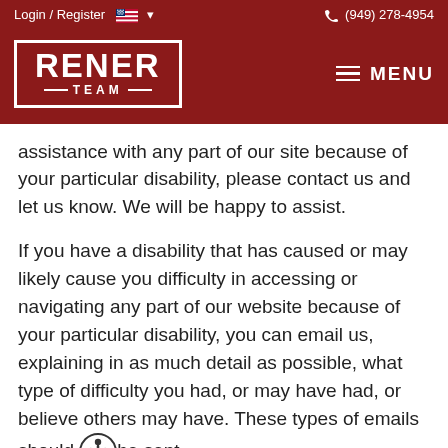Login / Register  (949) 278-4954
[Figure (logo): Rener Team logo - white text with border on dark red background, with hamburger menu icon and MENU text]
assistance with any part of our site because of your particular disability, please contact us and let us know. We will be happy to assist.
If you have a disability that has caused or may likely cause you difficulty in accessing or navigating any part of our website because of your particular disability, you can email us, explaining in as much detail as possible, what type of difficulty you had, or may have had, or believe others may have. These types of emails should be sent to: accessibility@sierrainteractive.com for forwarding to us. Note: if the email is sent to a third